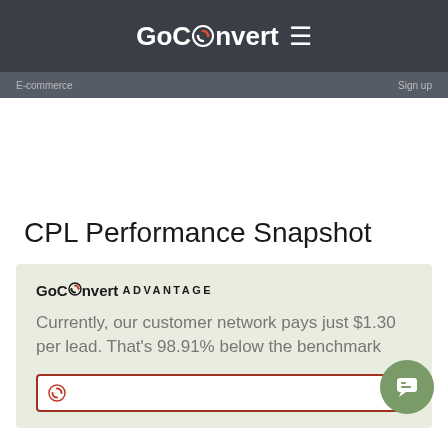GoConvert ≡
CPL Performance Snapshot
GoConvert ADVANTAGE
Currently, our customer network pays just $1.30 per lead. That's 98.91% below the benchmark